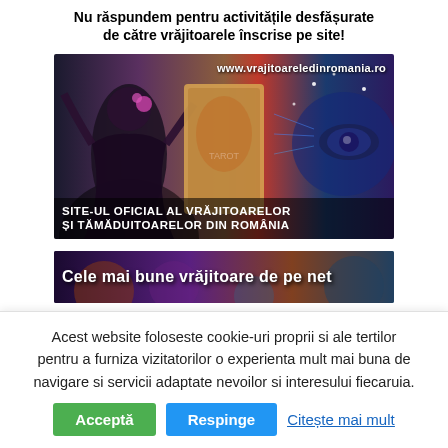Nu răspundem pentru activitățile desfășurate de către vrăjitoarele înscrise pe site!
[Figure (photo): Banner advertisement for www.vrajitoareledinromania.ro - site-ul oficial al vrăjitoarelor și tămăduitoarelor din România, with mystical imagery of a witch, tarot cards, and a glowing eye]
[Figure (photo): Partial banner showing 'Cele mai bune vrăjitoare de pe net']
Acest website foloseste cookie-uri proprii si ale tertilor pentru a furniza vizitatorilor o experienta mult mai buna de navigare si servicii adaptate nevoilor si interesului fiecaruia.
Acceptă   Respinge   Citește mai mult